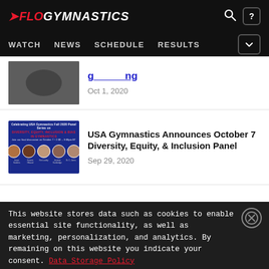FLOGYMNASTICS — WATCH | NEWS | SCHEDULE | RESULTS
[Figure (screenshot): Partial article thumbnail showing gymnastics image]
Oct 1, 2020
[Figure (screenshot): USA Gymnastics Fall 2020 Panel Series on Diversity, Equity, Inclusion & Bias in Gymnastics promotional image with five panelist headshots]
USA Gymnastics Announces October 7 Diversity, Equity, & Inclusion Panel
Sep 29, 2020
This website stores data such as cookies to enable essential site functionality, as well as marketing, personalization, and analytics. By remaining on this website you indicate your consent. Data Storage Policy